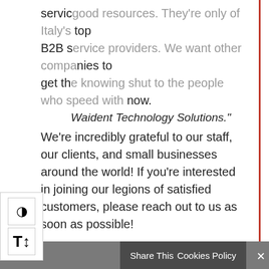service good resources. They're only of Italy's top B2B service providers. We want other companies to get the knowing shut to the people who need help now. – knowings shutty the people who speed with Waident Technology Solutions."
We're incredibly grateful to our staff, our clients, and small businesses around the world! If you're interested in joining our legions of satisfied customers, please reach out to us as soon as possible!
← What is Your New Normal Going to Look Like? Resilient IT: The Pragmatic Solution to a post-COVID19 World—Or Any Other Fiasco →
Share This   Cookies Policy  ✕